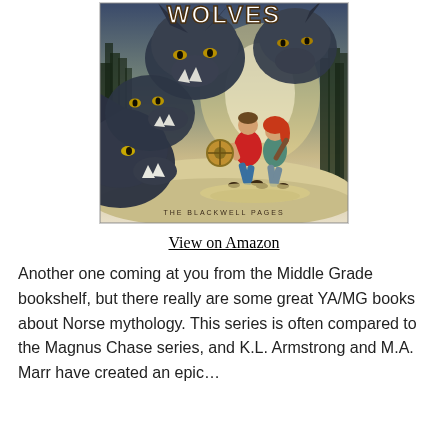[Figure (illustration): Book cover for 'Wolves' (The Blackwell Pages series) showing two children running from large menacing wolves in a foggy forest, with a shield held by the boy. Title 'WOLVES' at top and 'THE BLACKWELL PAGES' at bottom.]
View on Amazon
Another one coming at you from the Middle Grade bookshelf, but there really are some great YA/MG books about Norse mythology. This series is often compared to the Magnus Chase series, and K.L. Armstrong and M.A. Marr have created an epic…